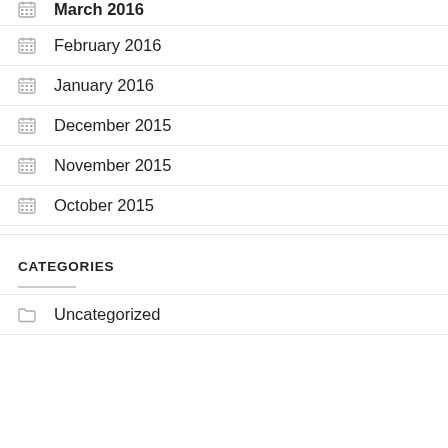March 2016
February 2016
January 2016
December 2015
November 2015
October 2015
CATEGORIES
Uncategorized